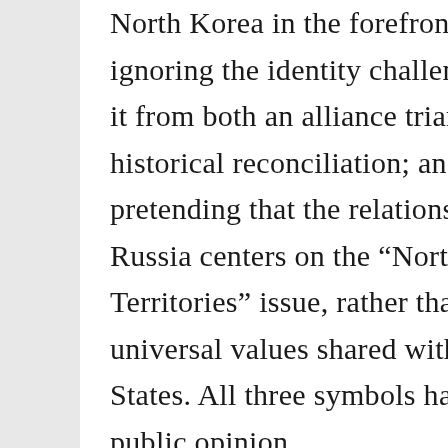North Korea in the forefront while ignoring the identity challenges of facing it from both an alliance triangle and historical reconciliation; and 3) pretending that the relationship with Russia centers on the “Northern Territories” issue, rather than on universal values shared with the United States. All three symbols have rallied public opinion,